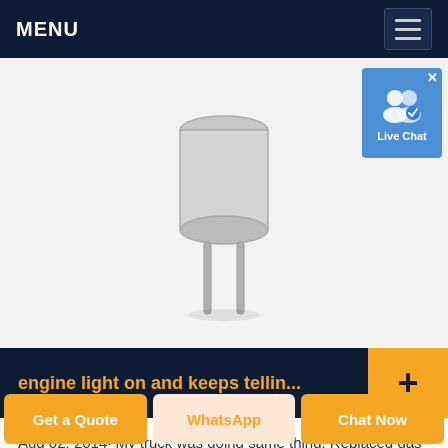MENU
[Figure (photo): Photo of a metal electronic component (likely a crystal oscillator or transistor) with two metal pins on a white/light grey background.]
[Figure (screenshot): Live Chat button/badge with user icon and blue background, with an X close button.]
engine light on and keeps tellin...
Aug 02, 2014· My truck was doing same thing. Replaced gas cap and that didn"t fix it. I had to
Get a Quote  |  WhatsApp  |  Chat Now